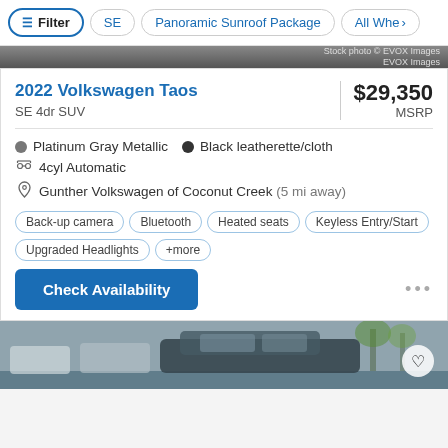Filter  SE  Panoramic Sunroof Package  All Whe›
[Figure (screenshot): Stock photo banner with text 'Stock photo © EVOX Images']
2022 Volkswagen Taos
SE 4dr SUV
$29,350 MSRP
Platinum Gray Metallic  •  Black leatherette/cloth
4cyl Automatic
Gunther Volkswagen of Coconut Creek (5 mi away)
Back-up camera
Bluetooth
Heated seats
Keyless Entry/Start
Upgraded Headlights
+more
Check Availability
[Figure (photo): Bottom portion of a car listing photo showing a vehicle in a parking lot]